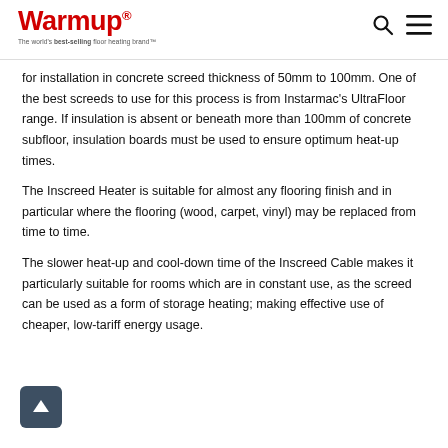Warmup® — The world's best-selling floor heating brand™
for installation in concrete screed thickness of 50mm to 100mm. One of the best screeds to use for this process is from Instarmac's UltraFloor range. If insulation is absent or beneath more than 100mm of concrete subfloor, insulation boards must be used to ensure optimum heat-up times.
The Inscreed Heater is suitable for almost any flooring finish and in particular where the flooring (wood, carpet, vinyl) may be replaced from time to time.
The slower heat-up and cool-down time of the Inscreed Cable makes it particularly suitable for rooms which are in constant use, as the screed can be used as a form of storage heating; making effective use of cheaper, low-tariff energy usage.